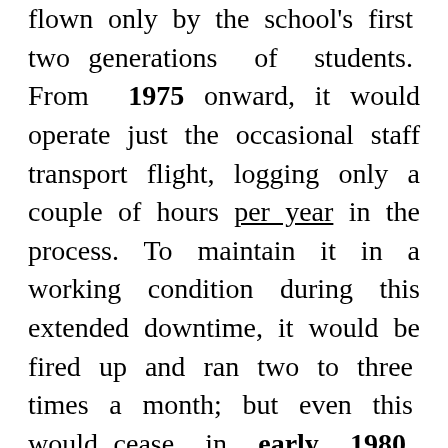flown only by the school's first two generations of students. From 1975 onward, it would operate just the occasional staff transport flight, logging only a couple of hours per year in the process. To maintain it in a working condition during this extended downtime, it would be fired up and ran two to three times a month; but even this would cease in early 1980, when the engines finally ticked over to 800 and the aircraft lost its Certificate of Airworthiness once and for all – having flown just 50-ish hours in VZŠ service...
Despite it now being ripe for the chopping